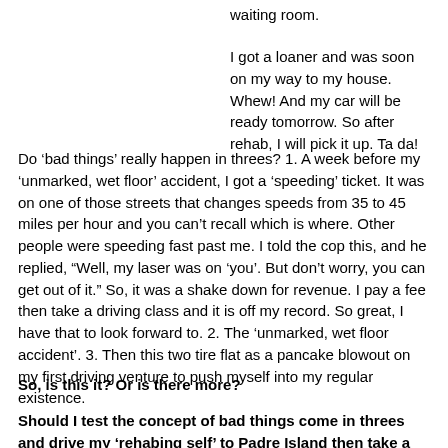waiting room.
I got a loaner and was soon on my way to my house. Whew! And my car will be ready tomorrow. So after rehab, I will pick it up. Ta da!
Do ‘bad things’ really happen in threes? 1. A week before my ‘unmarked, wet floor’ accident, I got a ‘speeding’ ticket. It was on one of those streets that changes speeds from 35 to 45 miles per hour and you can’t recall which is where. Other people were speeding fast past me. I told the cop this, and he replied, “Well, my laser was on ‘you’. But don’t worry, you can get out of it.” So, it was a shake down for revenue. I pay a fee then take a driving class and it is off my record. So great, I have that to look forward to. 2. The ‘unmarked, wet floor accident’. 3. Then this two tire flat as a pancake blowout on my first driving venture to push myself into my regular existence.
So, is this it? Or is there more?
Should I test the concept of bad things come in threes and drive my ‘rehabing self’ to Padre Island then take a bus across the border to